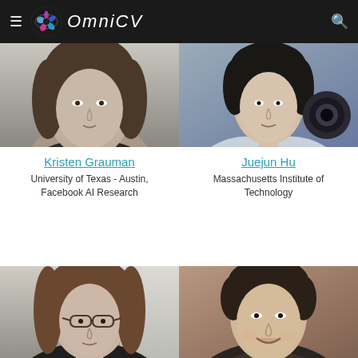OmniCV
[Figure (photo): Black and white portrait photo of Kristen Grauman, a woman photographed from shoulders up]
[Figure (photo): Photo of Juejun Hu, showing person with camera equipment]
Kristen Grauman
University of Texas - Austin, Facebook AI Research
Juejun Hu
Massachusetts Institute of Technology
[Figure (photo): Black and white portrait of a woman with glasses and shoulder-length hair]
[Figure (photo): Color portrait of a smiling man]